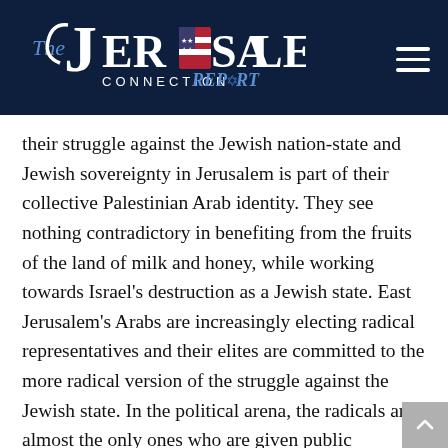The Jerusalem Connection Report
their struggle against the Jewish nation-state and Jewish sovereignty in Jerusalem is part of their collective Palestinian Arab identity. They see nothing contradictory in benefiting from the fruits of the land of milk and honey, while working towards Israel's destruction as a Jewish state. East Jerusalem's Arabs are increasingly electing radical representatives and their elites are committed to the more radical version of the struggle against the Jewish state. In the political arena, the radicals are almost the only ones who are given public expression, held in high esteem as role models. The Israeli publics for the most part are fed media generated messages by Israel's left